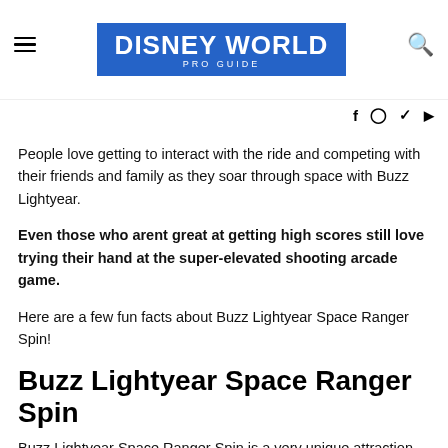DISNEY WORLD PRO GUIDE
People love getting to interact with the ride and competing with their friends and family as they soar through space with Buzz Lightyear.
Even those who arent great at getting high scores still love trying their hand at the super-elevated shooting arcade game.
Here are a few fun facts about Buzz Lightyear Space Ranger Spin!
Buzz Lightyear Space Ranger Spin
Buzz Lightyear Space Ranger Spin is a very unique attraction